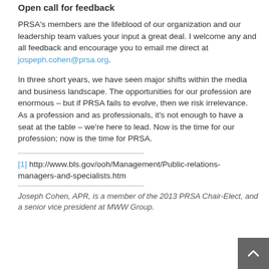Open call for feedback
PRSA’s members are the lifeblood of our organization and our leadership team values your input a great deal.  I welcome any and all feedback and encourage you to email me direct at jospeph.cohen@prsa.org.
In three short years, we have seen major shifts within the media and business landscape.  The opportunities for our profession are enormous – but if PRSA fails to evolve, then we risk irrelevance. As a profession and as professionals, it’s not enough to have a seat at the table – we’re here to lead.  Now is the time for our profession; now is the time for PRSA.
[1] http://www.bls.gov/ooh/Management/Public-relations-managers-and-specialists.htm
Joseph Cohen, APR, is a member of the 2013 PRSA Chair-Elect, and a senior vice president at MWW Group.